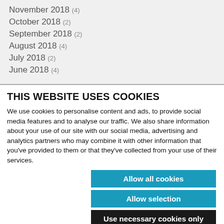November 2018 (4)
October 2018 (2)
September 2018 (2)
August 2018 (4)
July 2018 (2)
June 2018 (4)
THIS WEBSITE USES COOKIES
We use cookies to personalise content and ads, to provide social media features and to analyse our traffic. We also share information about your use of our site with our social media, advertising and analytics partners who may combine it with other information that you’ve provided to them or that they’ve collected from your use of their services.
Allow all cookies
Allow selection
Use necessary cookies only
Necessary  Preferences  Statistics  Marketing  Show details